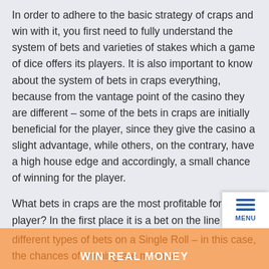In order to adhere to the basic strategy of craps and win with it, you first need to fully understand the system of bets and varieties of stakes which a game of dice offers its players. It is also important to know about the system of bets in craps everything, because from the vantage point of the casino they are different – some of the bets in craps are initially beneficial for the player, since they give the casino a slight advantage, while others, on the contrary, have a high house edge and accordingly, a small chance of winning for the player.
What bets in craps are the most profitable for the player? In the first place it is a bet on the line (on the Pass Line and Do not Pass Line) and Come / Do not Come. The size of the payoff for such a modest bet is only 1 to 1, but a chance to win one of these bets is higher. The most disadvantageous for the player are different types of bets on a Single Roll – in this case, the chances of winning are minimal.
[Figure (other): Menu button with three horizontal blue lines and MENU label in blue text on white background, positioned bottom right.]
WIN REAL MONEY